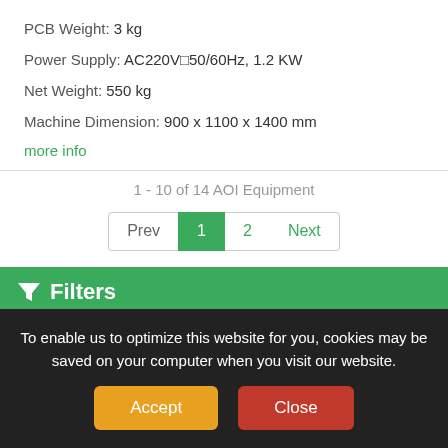PCB Weight:  3 kg
Power Supply:  AC220V□50/60Hz, 1.2 KW
Net Weight:  550 kg
Machine Dimension:  900 x 1100 x 1400 mm
more info
1 - 10 of 14 AOI Equipment
Prev 1 2 Next
Filters
Manufacturers from
To enable us to optimize this website for you, cookies may be saved on your computer when you visit our website.